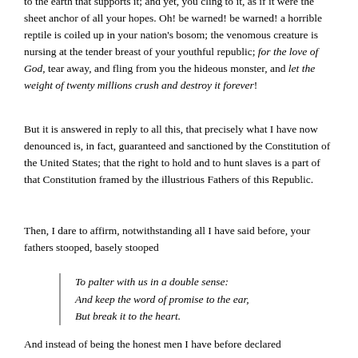to the earth that supports it; and yet, you cling to it, as if it were the sheet anchor of all your hopes. Oh! be warned! be warned! a horrible reptile is coiled up in your nation's bosom; the venomous creature is nursing at the tender breast of your youthful republic; for the love of God, tear away, and fling from you the hideous monster, and let the weight of twenty millions crush and destroy it forever!
But it is answered in reply to all this, that precisely what I have now denounced is, in fact, guaranteed and sanctioned by the Constitution of the United States; that the right to hold and to hunt slaves is a part of that Constitution framed by the illustrious Fathers of this Republic.
Then, I dare to affirm, notwithstanding all I have said before, your fathers stooped, basely stooped
To palter with us in a double sense:
And keep the word of promise to the ear,
But break it to the heart.
And instead of being the honest men I have before declared